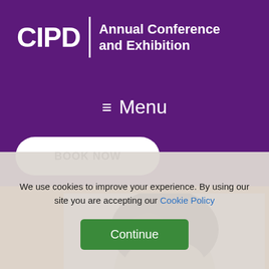CIPD | Annual Conference and Exhibition
≡ Menu
BOOK NOW
[Figure (photo): Partial photo of a person's head with dark hair against a light grey background, shown in an orange-bordered section]
We use cookies to improve your experience. By using our site you are accepting our Cookie Policy
Continue